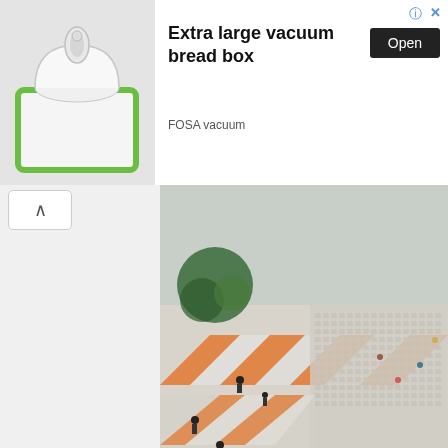[Figure (photo): Advertisement banner showing a white vacuum bread box with a green border and clear dome lid, product by FOSA vacuum]
Extra large vacuum bread box
Open
FOSA vacuum
[Figure (photo): Aerial/tilt-shift view inside SM Lanang Premier mall showing rows of chairs set up for an event, trees, people, and orange stripe floor accents]
Inside SM Lanang Prem
And then poof, he became Koko crunch!
2) ELECTRIC DREAM
This story was shared by my mom. Back in 1988, she went to